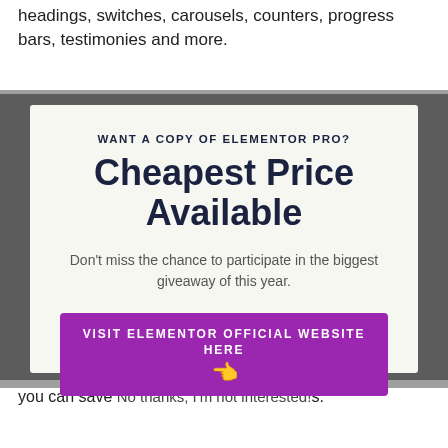headings, switches, carousels, counters, progress bars, testimonies and more.
WANT A COPY OF ELEMENTOR PRO?
Cheapest Price Available
Don't miss the chance to participate in the biggest giveaway of this year.
VISIT ELEMENTOR OFFICIAL WEBSITE HERE 👈
you can save No thanks, I'm not interested!s.